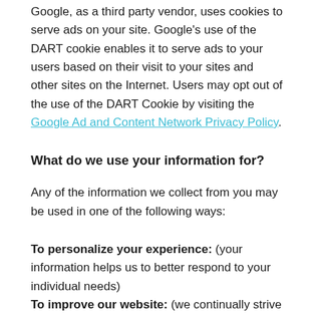Google, as a third party vendor, uses cookies to serve ads on your site. Google's use of the DART cookie enables it to serve ads to your users based on their visit to your sites and other sites on the Internet. Users may opt out of the use of the DART Cookie by visiting the Google Ad and Content Network Privacy Policy.
What do we use your information for?
Any of the information we collect from you may be used in one of the following ways:
To personalize your experience: (your information helps us to better respond to your individual needs)
To improve our website: (we continually strive to improve our website offerings based on the information and feedback we receive from you)
To improve customer service: (your information helps us to